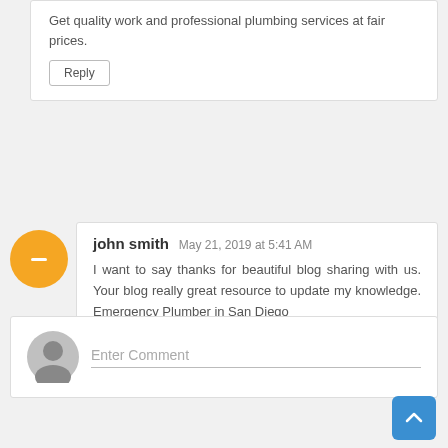Get quality work and professional plumbing services at fair prices.
Reply
john smith  May 21, 2019 at 5:41 AM
I want to say thanks for beautiful blog sharing with us. Your blog really great resource to update my knowledge. Emergency Plumber in San Diego
Reply
Enter Comment